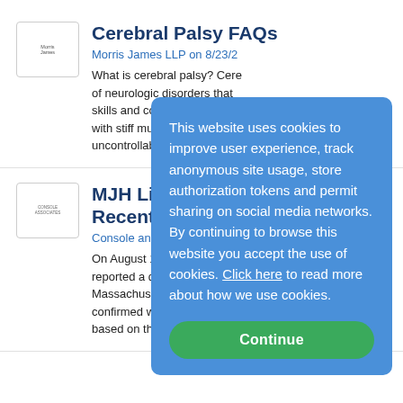[Figure (logo): Morris James LLP logo placeholder]
Cerebral Palsy FAQs
Morris James LLP on 8/23/2...
What is cerebral palsy? Cere... of neurologic disorders that ... skills and cognitive develop... with stiff muscles (called sp... uncontrollable...more
[Figure (logo): Console and Associates logo placeholder]
MJH Life Sciences Recent Data Bre...
Console and Associates, P.C...
On August 11, 2022, MJH L... reported a data breach with... Massachusetts. While MJH ... confirmed what types of inf... based on the state...more
This website uses cookies to improve user experience, track anonymous site usage, store authorization tokens and permit sharing on social media networks. By continuing to browse this website you accept the use of cookies. Click here to read more about how we use cookies.
Continue